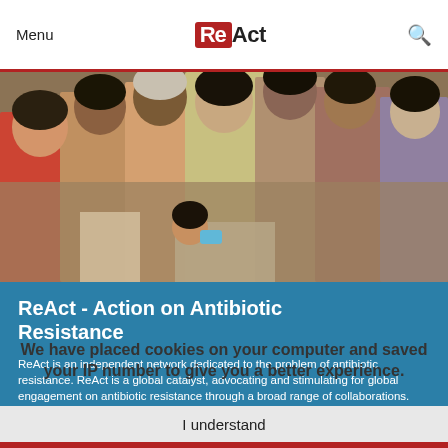Menu   ReAct   🔍
[Figure (photo): Group of Indian children and an elderly woman gathered together looking at something, outdoor setting]
ReAct - Action on Antibiotic Resistance
ReAct is an independent network dedicated to the problem of antibiotic resistance. ReAct is a global catalyst, advocating and stimulating for global engagement on antibiotic resistance through a broad range of collaborations.
We have placed cookies on your computer and saved your IP number to give you a better experience.
I understand